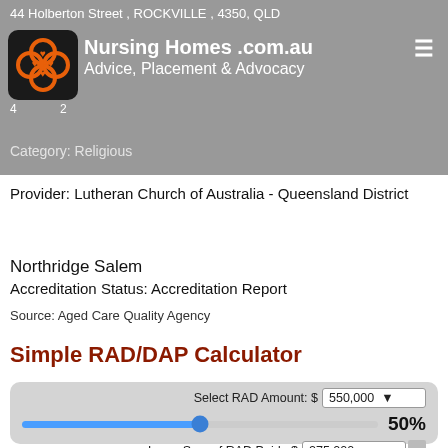44 Holberton Street, ROCKVILLE, 4350, QLD | Nursing Homes .com.au | Advice, Placement & Advocacy | Category: Religious
Provider: Lutheran Church of Australia - Queensland District
Northridge Salem
Accreditation Status: Accreditation Report
Source: Aged Care Quality Agency
Simple RAD/DAP Calculator
[Figure (screenshot): RAD/DAP Calculator widget showing: Select RAD Amount: $550,000 (dropdown), a horizontal slider at 50%, Lump Sum of RAD Paid: $275,000, DAP: $37.67 pd]